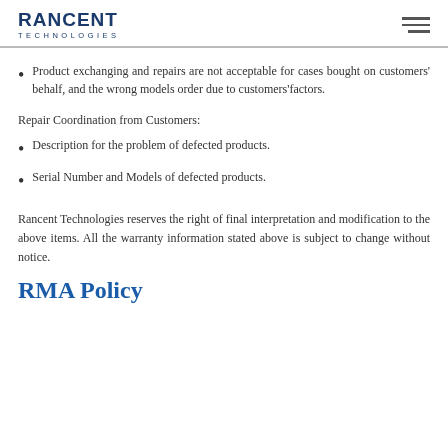RANCENT TECHNOLOGIES
Product exchanging and repairs are not acceptable for cases bought on customers' behalf, and the wrong models order due to customers'factors.
Repair Coordination from Customers:
Description for the problem of defected products.
Serial Number and Models of defected products.
Rancent Technologies reserves the right of final interpretation and modification to the above items. All the warranty information stated above is subject to change without notice.
RMA Policy